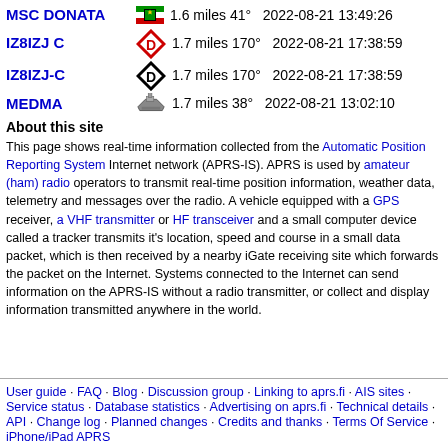MSC DONATA  1.6 miles 41°  2022-08-21 13:49:26
IZ8IZJ C  1.7 miles 170°  2022-08-21 17:38:59
IZ8IZJ-C  1.7 miles 170°  2022-08-21 17:38:59
MEDMA  1.7 miles 38°  2022-08-21 13:02:10
About this site
This page shows real-time information collected from the Automatic Position Reporting System Internet network (APRS-IS). APRS is used by amateur (ham) radio operators to transmit real-time position information, weather data, telemetry and messages over the radio. A vehicle equipped with a GPS receiver, a VHF transmitter or HF transceiver and a small computer device called a tracker transmits it's location, speed and course in a small data packet, which is then received by a nearby iGate receiving site which forwards the packet on the Internet. Systems connected to the Internet can send information on the APRS-IS without a radio transmitter, or collect and display information transmitted anywhere in the world.
User guide · FAQ · Blog · Discussion group · Linking to aprs.fi · AIS sites · Service status · Database statistics · Advertising on aprs.fi · Technical details · API · Change log · Planned changes · Credits and thanks · Terms Of Service · iPhone/iPad APRS